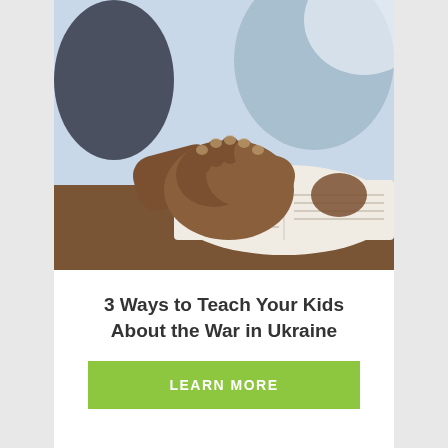[Figure (photo): Two children with dark skin sitting at a table with an open Bible/book, hands clasped in prayer position over the pages]
3 Ways to Teach Your Kids About the War in Ukraine
LEARN MORE